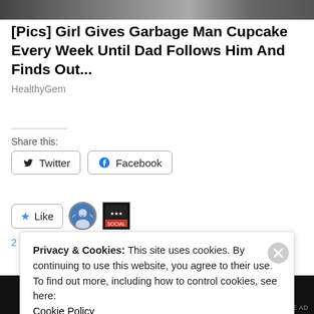[Figure (photo): Top cropped banner image of a person/scene in dark tones]
[Pics] Girl Gives Garbage Man Cupcake Every Week Until Dad Follows Him And Finds Out...
HealthyGem
Share this:
[Figure (other): Twitter and Facebook share buttons]
[Figure (other): Like button with star icon and two blogger avatars]
2 bloggers like this.
Privacy & Cookies: This site uses cookies. By continuing to use this website, you agree to their use.
To find out more, including how to control cookies, see here:
Cookie Policy
Close and accept